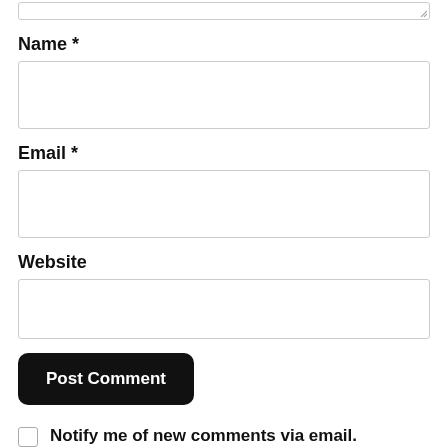[textarea top partial]
Name *
[Name input field]
Email *
[Email input field]
Website
[Website input field]
Post Comment
Notify me of new comments via email.
Notify me of new posts via email.